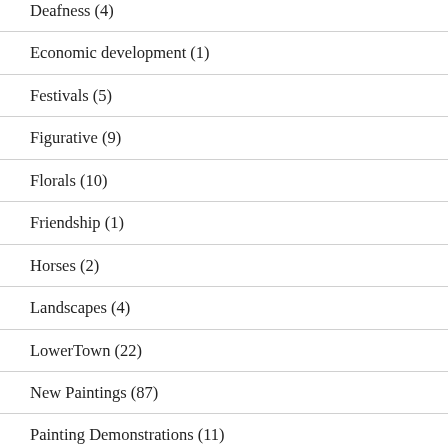Deafness (4)
Economic development (1)
Festivals (5)
Figurative (9)
Florals (10)
Friendship (1)
Horses (2)
Landscapes (4)
LowerTown (22)
New Paintings (87)
Painting Demonstrations (11)